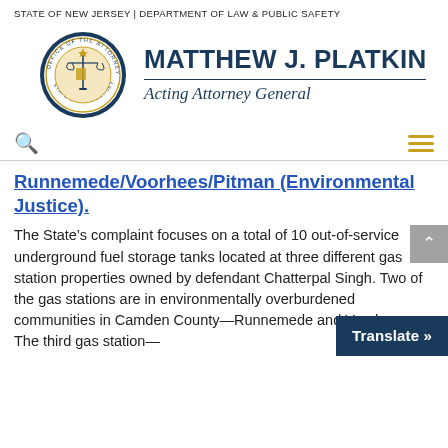STATE OF NEW JERSEY | DEPARTMENT OF LAW & PUBLIC SAFETY
[Figure (logo): New Jersey Office of the Attorney General seal and name: MATTHEW J. PLATKIN, Acting Attorney General]
Runnemede/Voorhees/Pitman (Environmental Justice)
The State's complaint focuses on a total of 10 out-of-service underground fuel storage tanks located at three different gas station properties owned by defendant Chatterpal Singh. Two of the gas stations are in environmentally overburdened communities in Camden County—Runnemede and Voorhees. The third gas station—